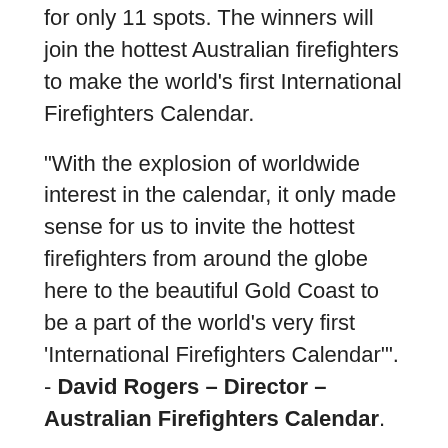for only 11 spots. The winners will join the hottest Australian firefighters to make the world's first International Firefighters Calendar.
“With the explosion of worldwide interest in the calendar, it only made sense for us to invite the hottest firefighters from around the globe here to the beautiful Gold Coast to be a part of the world’s very first ‘International Firefighters Calendar’”. - David Rogers – Director – Australian Firefighters Calendar.
With the inclusion of the international firefighters, funds from calendar sales will now also be donated back to animal charities located in those participating countries.